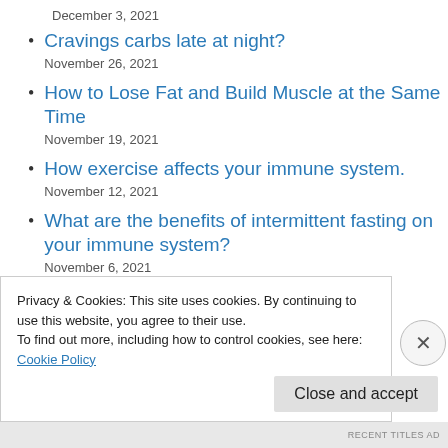December 3, 2021
Cravings carbs late at night?
November 26, 2021
How to Lose Fat and Build Muscle at the Same Time
November 19, 2021
How exercise affects your immune system.
November 12, 2021
What are the benefits of intermittent fasting on your immune system?
November 6, 2021
Privacy & Cookies: This site uses cookies. By continuing to use this website, you agree to their use.
To find out more, including how to control cookies, see here:
Cookie Policy
Close and accept